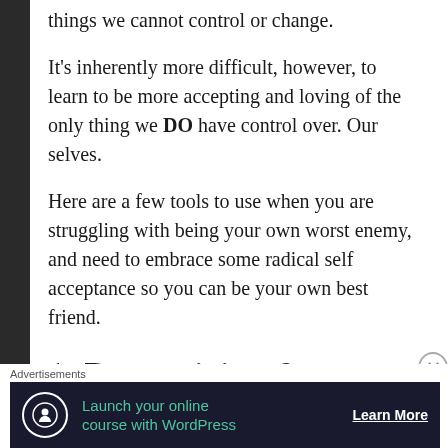things we cannot control or change.
It’s inherently more difficult, however, to learn to be more accepting and loving of the only thing we DO have control over. Our selves.
Here are a few tools to use when you are struggling with being your own worst enemy, and need to embrace some radical self acceptance so you can be your own best friend.
1. Recognizing &
Advertisements
[Figure (other): Advertisement banner: Launch your online course with WordPress. Learn More button. Dark background with teal text and tree/person icon.]